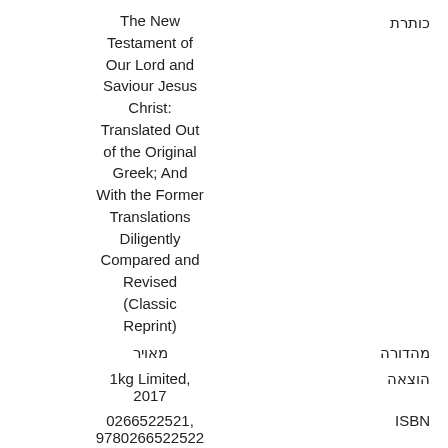The New Testament of Our Lord and Saviour Jesus Christ: Translated Out of the Original Greek; And With the Former Translations Diligently Compared and Revised (Classic Reprint)
כותרת
מאויר | מהדורה
1kg Limited, 2017 | הוצאה
0266522521, 9780266522522 | ISBN
342 עמודים | אורך